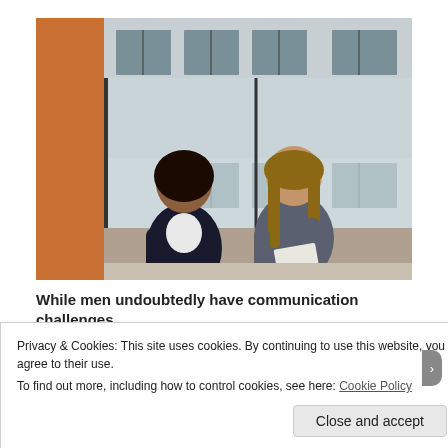[Figure (photo): Two women having a conversation near a window in an office building. One woman with dark curly hair leans against an orange wall wearing a dark blazer. The other woman with long straight hair sits on a windowsill wearing a grey blazer and holding papers, gesturing as they talk.]
While men undoubtedly have communication challenges
Privacy & Cookies: This site uses cookies. By continuing to use this website, you agree to their use.
To find out more, including how to control cookies, see here: Cookie Policy
Close and accept